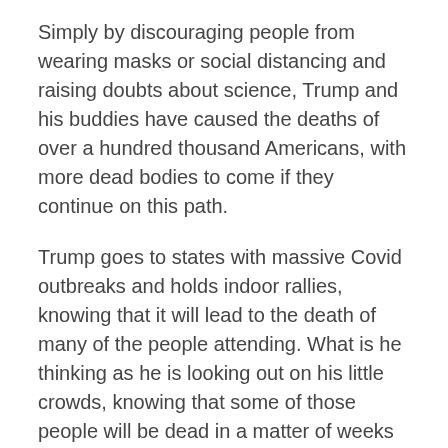Simply by discouraging people from wearing masks or social distancing and raising doubts about science, Trump and his buddies have caused the deaths of over a hundred thousand Americans, with more dead bodies to come if they continue on this path.
Trump goes to states with massive Covid outbreaks and holds indoor rallies, knowing that it will lead to the death of many of the people attending. What is he thinking as he is looking out on his little crowds, knowing that some of those people will be dead in a matter of weeks because of his desperate need for adulation?
Trump refuses to use the Defense Production Act to build up our stockpiles of testing equipment and PPE, making the situation for people in states where the virus is exploding right now a death-dealing crisis.